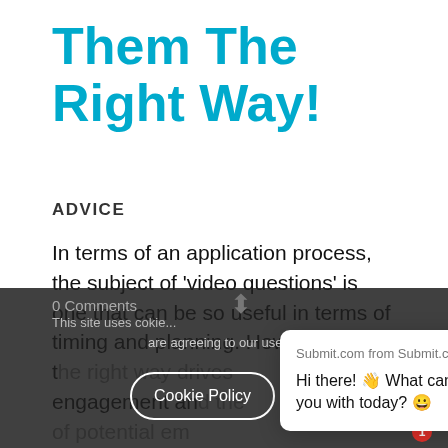Them The Right Way!
ADVICE
In terms of an application process, the subject of 'video questions' is one that can be so useful in terms of timing and planning. How to do it in t[he way that drives] engagement an[d the attention] of potential em[ployers...]
[Figure (screenshot): Submit.com chat popup with message: 'Hi there! 👋 What can I help you with today? 😀']
This site uses cookies are agreeing to our use of cookies.
0 Comments
Cookie Policy | Ok